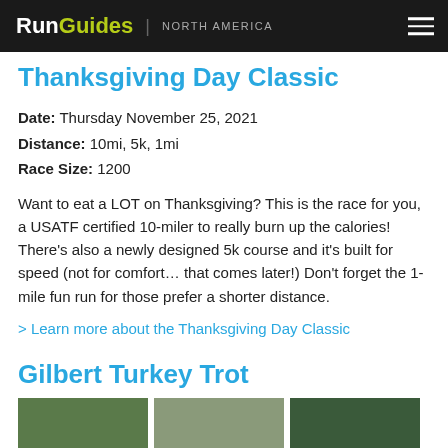RunGuides | NORTH AMERICA
Thanksgiving Day Classic
Date: Thursday November 25, 2021
Distance: 10mi, 5k, 1mi
Race Size: 1200
Want to eat a LOT on Thanksgiving? This is the race for you, a USATF certified 10-miler to really burn up the calories! There's also a newly designed 5k course and it's built for speed (not for comfort... that comes later!) Don't forget the 1-mile fun run for those prefer a shorter distance.
> Learn more about the Thanksgiving Day Classic
Gilbert Turkey Trot
[Figure (photo): Three thumbnail photos of race events]